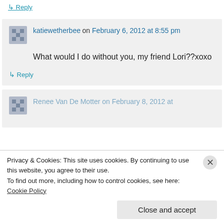↳ Reply
katiewetherbee on February 6, 2012 at 8:55 pm
What would I do without you, my friend Lori??xoxo
↳ Reply
Renee Van De Motter on February 8, 2012 at
Privacy & Cookies: This site uses cookies. By continuing to use this website, you agree to their use.
To find out more, including how to control cookies, see here: Cookie Policy
Close and accept